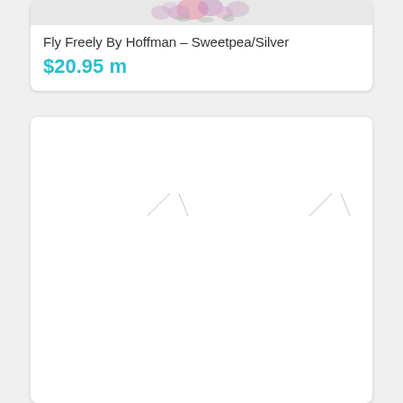[Figure (photo): Top portion of a floral fabric pattern showing pink and purple flowers on a light background — partial crop at top of product card]
Fly Freely By Hoffman – Sweetpea/Silver
$20.95 m
[Figure (photo): Fabric pattern featuring decorative moths/butterflies with black, olive-gold, and salmon/orange wings arranged in a repeating pattern on a white background]